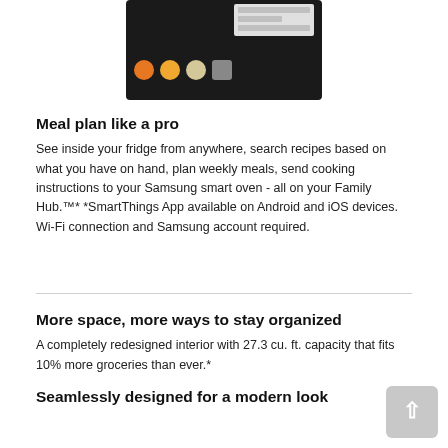[Figure (screenshot): Screenshot of a Samsung phone screen showing app icons and a dropdown menu on a dark background]
Meal plan like a pro
See inside your fridge from anywhere, search recipes based on what you have on hand, plan weekly meals, send cooking instructions to your Samsung smart oven - all on your Family Hub.™* *SmartThings App available on Android and iOS devices. Wi-Fi connection and Samsung account required.
More space, more ways to stay organized
A completely redesigned interior with 27.3 cu. ft. capacity that fits 10% more groceries than ever.*
Seamlessly designed for a modern look